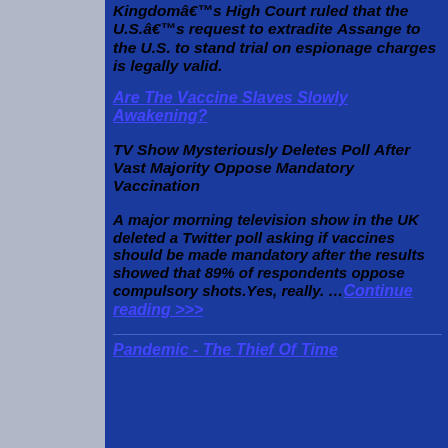Kingdom’s High Court ruled that the U.S.’s request to extradite Assange to the U.S. to stand trial on espionage charges is legally valid.
Are The Vaccine Slaves Slowly Awakening?
TV Show Mysteriously Deletes Poll After Vast Majority Oppose Mandatory Vaccination
A major morning television show in the UK deleted a Twitter poll asking if vaccines should be made mandatory after the results showed that 89% of respondents oppose compulsory shots. Yes, really. ...Continue reading >>>
Pandemic - The Thief Of Time